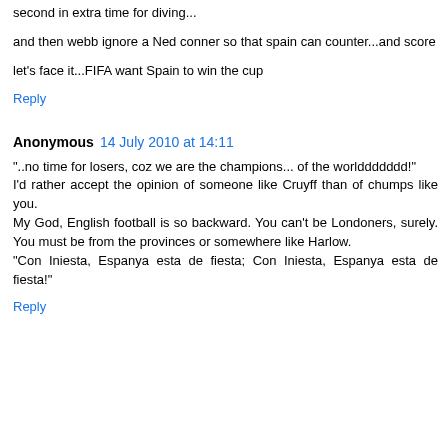second in extra time for diving...
and then webb ignore a Ned conner so that spain can counter...and score
let's face it...FIFA want Spain to win the cup
Reply
Anonymous  14 July 2010 at 14:11
"..no time for losers, coz we are the champions... of the worlddddddd!"
I'd rather accept the opinion of someone like Cruyff than of chumps like you.
My God, English football is so backward. You can't be Londoners, surely. You must be from the provinces or somewhere like Harlow.
"Con Iniesta, Espanya esta de fiesta; Con Iniesta, Espanya esta de fiesta!"
Reply